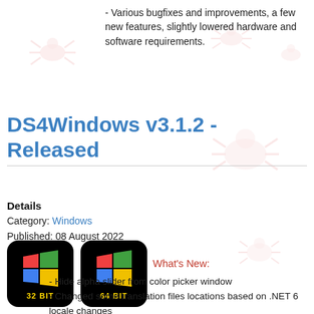- Various bugfixes and improvements, a few new features, slightly lowered hardware and software requirements.
DS4Windows v3.1.2 - Released
Details
Category: Windows
Published: 08 August 2022
[Figure (illustration): Two download buttons: 32 BIT and 64 BIT, each showing a Windows logo on a black rounded-square background]
What's New:
- Hide alpha slider from color picker window
- Changed some translation files locations based on .NET 6 locale changes